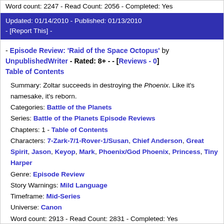Word count: 2247 - Read Count: 2056 - Completed: Yes
Updated: 01/14/2010 - Published: 01/13/2010 - [Report This] -
- Episode Review: 'Raid of the Space Octopus' by UnpublishedWriter - Rated: 8+ - - [Reviews - 0] Table of Contents
Summary: Zoltar succeeds in destroying the Phoenix. Like it's namesake, it's reborn.
Categories: Battle of the Planets
Series: Battle of the Planets Episode Reviews
Chapters: 1 - Table of Contents
Characters: 7-Zark-7/1-Rover-1/Susan, Chief Anderson, Great Spirit, Jason, Keyop, Mark, Phoenix/God Phoenix, Princess, Tiny Harper
Genre: Episode Review
Story Warnings: Mild Language
Timeframe: Mid-Series
Universe: Canon
Word count: 2913 - Read Count: 2831 - Completed: Yes
Updated: 01/14/2010 - Published: 01/13/2010 - [Report This] -
- Episode Review: [Space Rock Concert] by